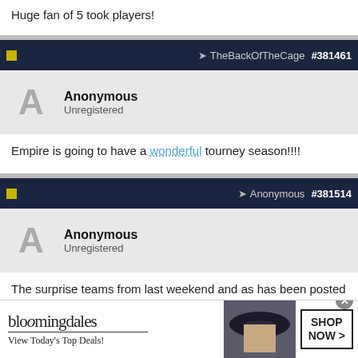Huge fan of 5 took players!
TheBackOfTheCage #381461
Anonymous
Unregistered
Empire is going to have a wonderful tourney season!!!!
Anonymous #381514
Anonymous
Unregistered
The surprise teams from last weekend and as has been posted here a few months ago.......Liberty but more so YJ Gaghan.
[Figure (other): Bloomingdale's advertisement banner: 'bloomingdales / View Today's Top Deals!' with woman in hat and 'SHOP NOW >' button]